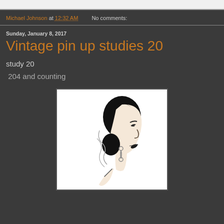Michael Johnson at 12:32 AM    No comments:
Sunday, January 8, 2017
Vintage pin up studies 20
study 20
204 and counting
[Figure (illustration): Black and white vintage illustration of a woman in profile, smoking a cigarette, with dark hair pulled back and dangling earrings, smoke curling upward]